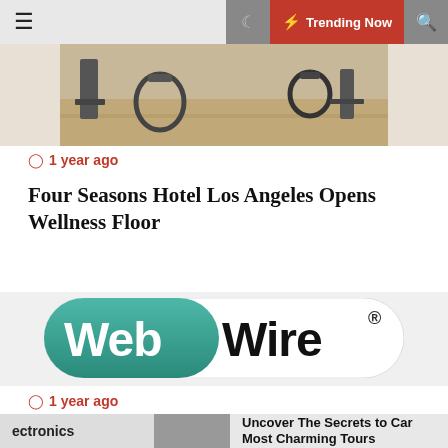☰ 🌙 ⚡ Trending Now 🔍
[Figure (photo): Gym/fitness room with exercise equipment on hardwood floor]
1 year ago
Four Seasons Hotel Los Angeles Opens Wellness Floor
[Figure (logo): WebWire logo — teal and white pill-shaped logo with 'Web' in white on teal background and 'Wire' in dark on white background]
1 year ago
ectronics
Uncover The Secrets to Car Most Charming Tours